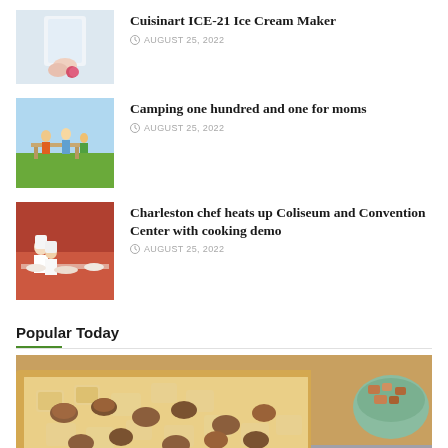Cuisinart ICE-21 Ice Cream Maker — AUGUST 25, 2022
Camping one hundred and one for moms — AUGUST 25, 2022
Charleston chef heats up Coliseum and Convention Center with cooking demo — AUGUST 25, 2022
Popular Today
[Figure (photo): Photo of baked goods / crackers with peanut butter cups on a baking sheet with a bowl of candy pieces in the background]